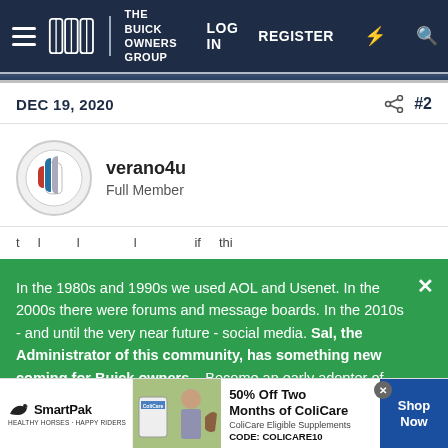THE BUICK OWNERS GROUP | LOG IN  REGISTER
DEC 19, 2020  #2
verano4u
Full Member
In the 1980s and 1990s we used AOL and Usenet. In the 2000s there were forums and message boards. In the 2010s - and until the very near future - social media. Sal, the Administrator of this community, has something new coming for Buick owners... Become an early adopter of what's next by SIGNING UP HERE. Your email address will
[Figure (infographic): SmartPak advertisement banner with horse supplement product image and '50% Off Two Months of ColiCare' offer, CODE: COLICARE10, with Shop Now button]